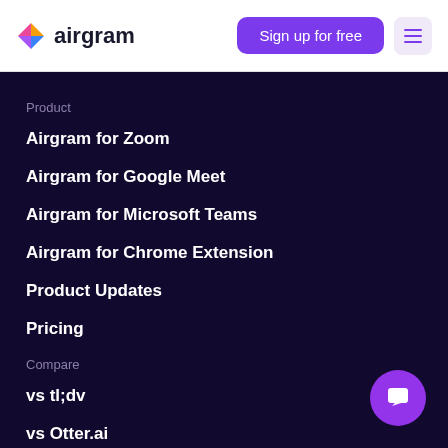airgram — Sign up for free
Product
Airgram for Zoom
Airgram for Google Meet
Airgram for Microsoft Teams
Airgram for Chrome Extension
Product Updates
Pricing
Compare
vs tl;dv
vs Otter.ai